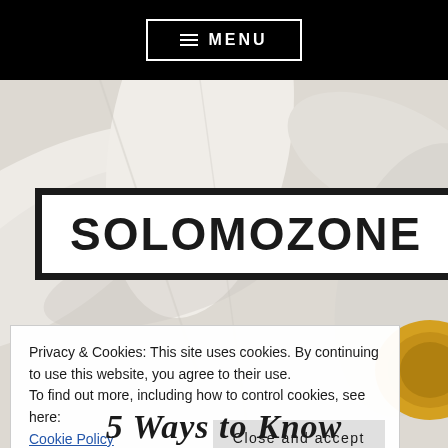≡ MENU
[Figure (photo): Close-up photograph of white flower petals with a yellow center, used as a hero background image with a white background tone]
SOLOMOZONE
Privacy & Cookies: This site uses cookies. By continuing to use this website, you agree to their use.
To find out more, including how to control cookies, see here:
Cookie Policy
Close and accept
5 Ways to Know